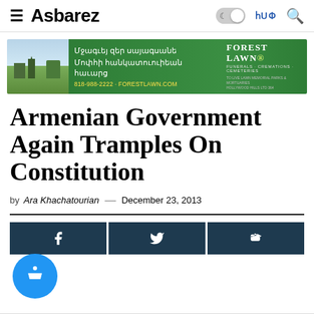≡ Asbarez | ϦՈՒ | Search
[Figure (infographic): Forest Lawn advertisement banner with Armenian text: Մրազրելp Ձեr Սายnguah, Մnphi հnlununnipibnh հnunip: 818-988-2222 · ForestLawn.com. Forest Lawn logo with Funerals, Cremations, Cemeteries tagline.]
Armenian Government Again Tramples On Constitution
by Ara Khachatourian — December 23, 2013